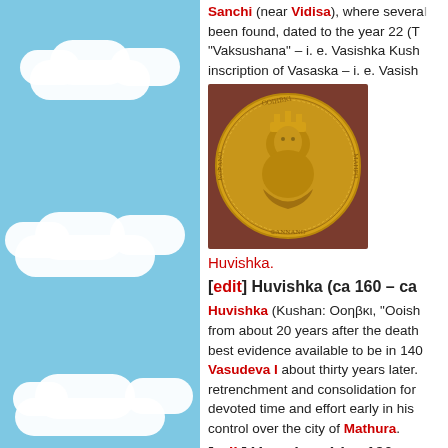[Figure (illustration): Blue sky with white clouds background panel on the left side of the page]
Sanchi (near Vidisa), where several been found, dated to the year 22 (T "Vaksushana" – i. e. Vasishka Kush inscription of Vasaska – i. e. Vasish
[Figure (photo): A gold coin of Huvishka showing a crowned figure on the obverse]
Huvishka.
[edit] Huvishka (ca 160 – ca
Huvishka (Kushan: Οοηβκι, "Ooish from about 20 years after the death best evidence available to be in 140 Vasudeva I about thirty years later. retrenchment and consolidation for devoted time and effort early in his control over the city of Mathura.
[edit] Vasudeva I (ca 190